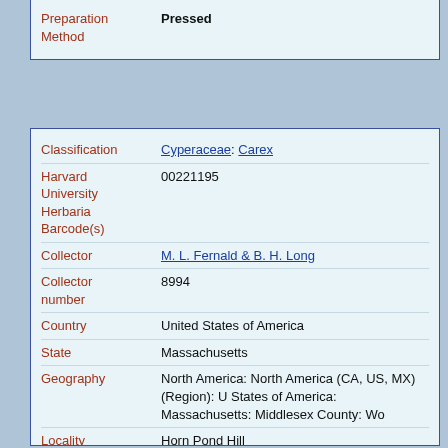| Field | Value |
| --- | --- |
| Preparation Method | Pressed |
| Field | Value |
| --- | --- |
| Classification | Cyperaceae: Carex |
| Harvard University Herbaria Barcode(s) | 00221195 |
| Collector | M. L. Fernald & B. H. Long |
| Collector number | 8994 |
| Country | United States of America |
| State | Massachusetts |
| Geography | North America: North America (CA, US, MX) (Region): United States of America: Massachusetts: Middlesex County: Wo... |
| Locality | Horn Pond Hill |
| Date Collected | 1913-10-05 |
| Habitat | Slopes |
| GUID | http://purl.oclc.org/net/edu.harvard.huh/guid/uuid/6fa... |